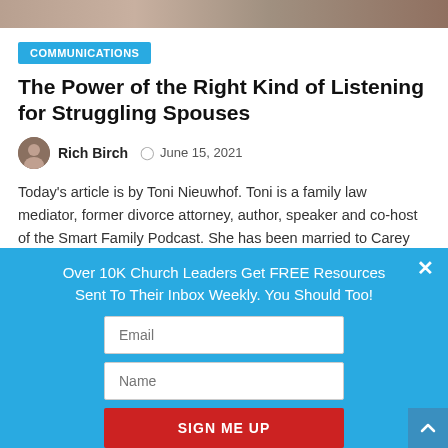[Figure (photo): Partial photo strip at top of page, showing a blurred/cropped image background]
COMMUNICATIONS
The Power of the Right Kind of Listening for Struggling Spouses
Rich Birch   June 15, 2021
Today's article is by Toni Nieuwhof. Toni is a family law mediator, former divorce attorney, author, speaker and co-host of the Smart Family Podcast. She has been married to Carey Nieuwhof for over 30 years.  Carey is a best-selling leadership
Over 10K Church Leaders Get FREE Resources Sent To Their Inbox Weekly. You Should Too!
Email
Name
SIGN ME UP